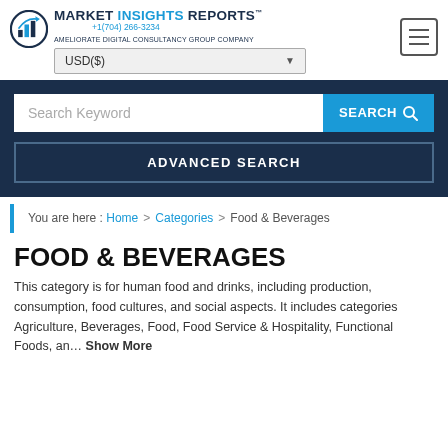MARKET INSIGHTS REPORTS™ — An Ameliorate Digital Consultancy Group Company | +1 (704) 266-3234
[Figure (logo): Market Insights Reports logo with circular bar chart icon]
USD($)
Search Keyword
SEARCH
ADVANCED SEARCH
You are here : Home > Categories > Food & Beverages
FOOD & BEVERAGES
This category is for human food and drinks, including production, consumption, food cultures, and social aspects. It includes categories Agriculture, Beverages, Food, Food Service & Hospitality, Functional Foods, an… Show More